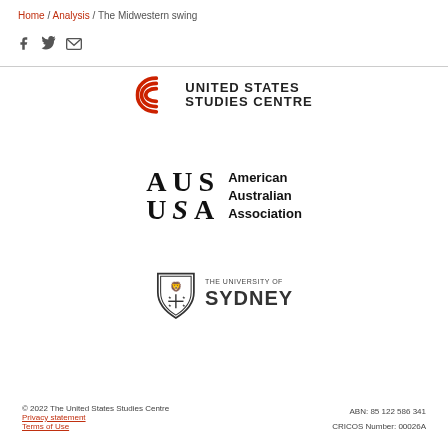Home / Analysis / The Midwestern swing
[Figure (logo): United States Studies Centre logo with red concentric arc and text UNITED STATES STUDIES CENTRE]
[Figure (logo): American Australian Association logo with AUSUSA text and full name]
[Figure (logo): The University of Sydney logo with shield and text]
© 2022 The United States Studies Centre  Privacy statement  Terms of Use  ABN: 85 122 586 341  CRICOS Number: 00026A